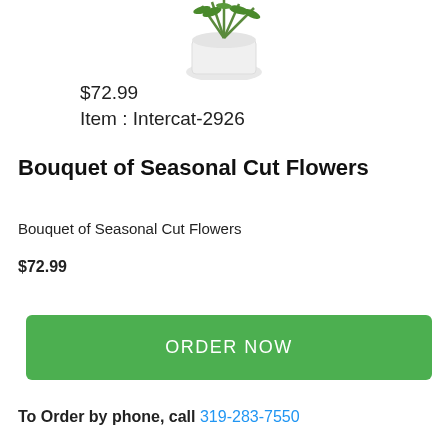[Figure (photo): Partial view of a flower bouquet in a white vase, cropped at top of page]
$72.99
Item : Intercat-2926
Bouquet of Seasonal Cut Flowers
Bouquet of Seasonal Cut Flowers
$72.99
ORDER NOW
To Order by phone, call 319-283-7550